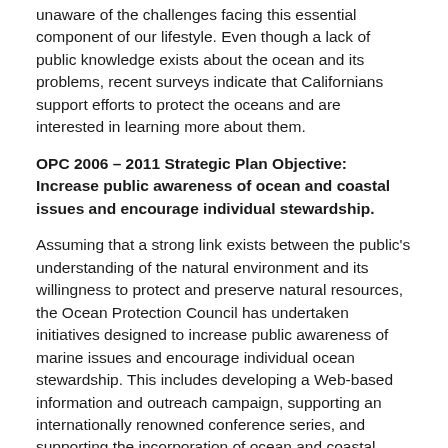unaware of the challenges facing this essential component of our lifestyle.  Even though a lack of public knowledge exists about the ocean and its problems, recent surveys indicate that Californians support efforts to protect the oceans and are interested in learning more about them.
OPC 2006 – 2011 Strategic Plan Objective: Increase public awareness of ocean and coastal issues and encourage individual stewardship.
Assuming that a strong link exists between the public's understanding of the natural environment and its willingness to protect and preserve natural resources, the Ocean Protection Council has undertaken initiatives designed to increase public awareness of marine issues and encourage individual ocean stewardship.  This includes developing a Web-based information and outreach campaign, supporting an internationally renowned conference series, and supporting the incorporation of ocean and coastal science into K-12 and adult education programs.